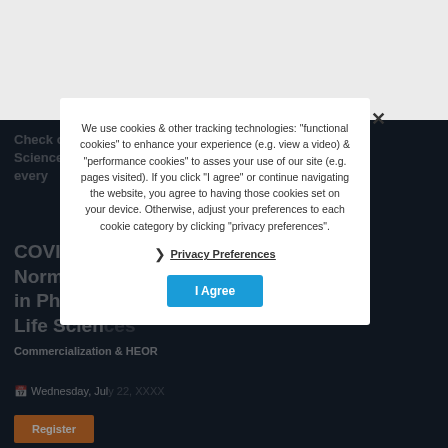[Figure (screenshot): Screenshot of a webpage with a light gray top section and a dark navy background section showing partially visible article content about COVID-19 Navigating the New Normal in Pharmaceutical/Life Sciences, Commercialization & HEOR, with a Wednesday July event date and Register button.]
We use cookies & other tracking technologies: "functional cookies" to enhance your experience (e.g. view a video) & "performance cookies" to asses your use of our site (e.g. pages visited). If you click "I agree" or continue navigating the website, you agree to having those cookies set on your device. Otherwise, adjust your preferences to each cookie category by clicking "privacy preferences".
❯ Privacy Preferences
I Agree